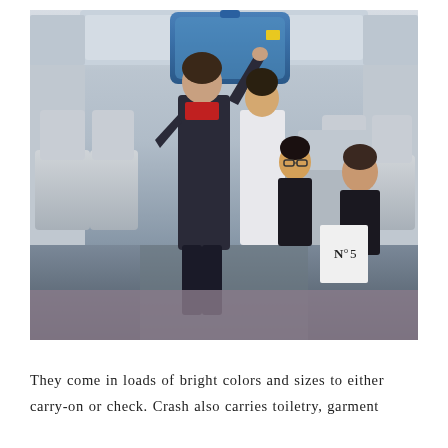[Figure (photo): A flight attendant in dark uniform with red scarf lifts a large blue hard-shell suitcase into the overhead bin on an airplane. Behind her, a woman with glasses watches, and a man in a dark jacket reads a magazine labeled 'No 5'. The airplane cabin shows rows of light gray seats.]
They come in loads of bright colors and sizes to either carry-on or check. Crash also carries toiletry, garment